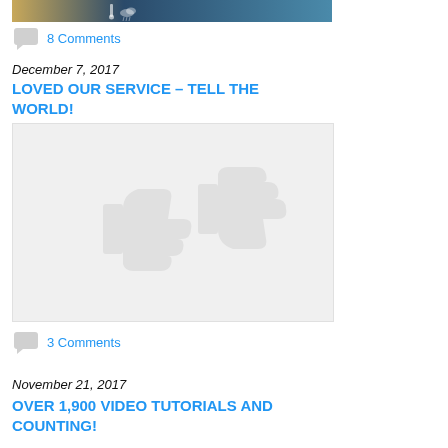[Figure (photo): Partial view of a world map or weather/geography image with tan/gold and dark blue tones, cropped at top of page]
8 Comments
December 7, 2017
LOVED OUR SERVICE – TELL THE WORLD! HATED IT – TELL US!
[Figure (illustration): Light gray placeholder image with faint thumbs-up and thumbs-down icon watermarks]
3 Comments
November 21, 2017
OVER 1,900 VIDEO TUTORIALS AND COUNTING!